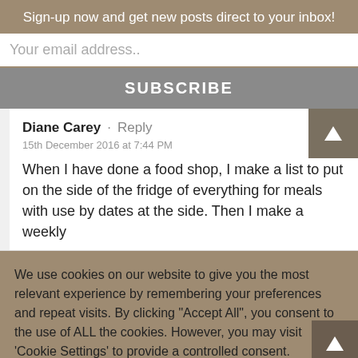Sign-up now and get new posts direct to your inbox!
Your email address..
SUBSCRIBE
Diane Carey · Reply
15th December 2016 at 7:44 PM

When I have done a food shop, I make a list to put on the side of the fridge of everything for meals with use by dates at the side. Then I make a weekly
We use cookies on our website to give you the most relevant experience by remembering your preferences and repeat visits. By clicking "Accept All", you consent to the use of ALL the cookies. However, you may visit 'Cookie Settings' to provide a controlled consent.
Cookie Settings
Accept All